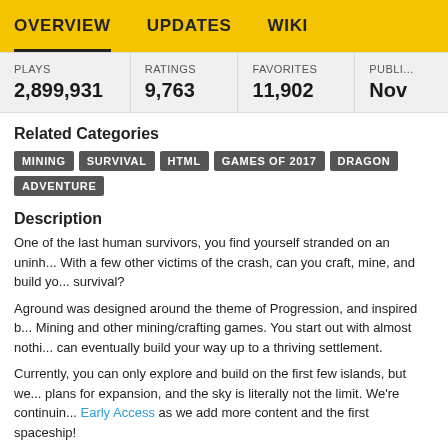OVERVIEW   UPDATES   WIKI
| PLAYS | RATINGS | FAVORITES | PUBLI... |
| --- | --- | --- | --- |
| 2,899,931 | 9,763 | 11,902 | Nov |
Related Categories
MINING
SURVIVAL
HTML
GAMES OF 2017
DRAGON
ADVENTURE
Description
One of the last human survivors, you find yourself stranded on an uninh... With a few other victims of the crash, can you craft, mine, and build yo... survival?
Aground was designed around the theme of Progression, and inspired b... Mining and other mining/crafting games. You start out with almost nothi... can eventually build your way up to a thriving settlement.
Currently, you can only explore and build on the first few islands, but we... plans for expansion, and the sky is literally not the limit. We're continuin... Early Access as we add more content and the first spaceship!
We're planning to continue developing Aground based on feedback and... from players, so definitely send me a message or post in our subreddit